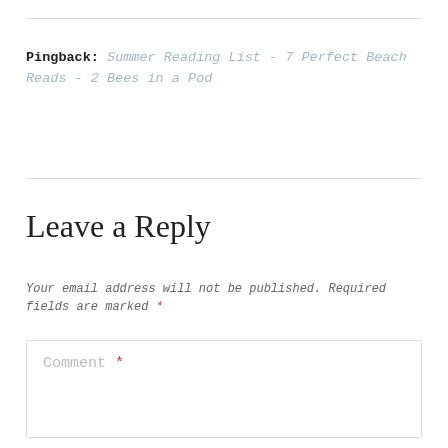Pingback: Summer Reading List - 7 Perfect Beach Reads - 2 Bees in a Pod
Leave a Reply
Your email address will not be published. Required fields are marked *
Comment *